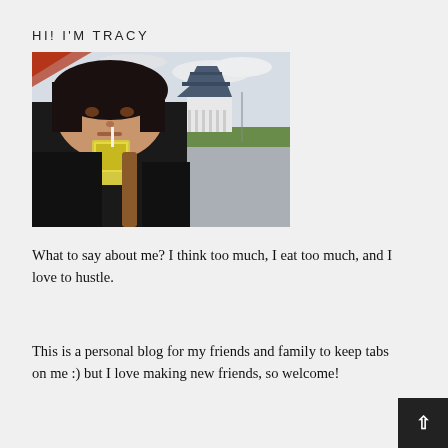HI! I'M TRACY
[Figure (photo): A young Asian woman with short dark hair drinking from a juice box carton, photographed in front of a large plaza with a traditional Taiwanese-style pavilion building (likely Chiang Kai-shek Memorial Hall) in the background under a cloudy sky.]
What to say about me? I think too much, I eat too much, and I love to hustle.
This is a personal blog for my friends and family to keep tabs on me :) but I love making new friends, so welcome!